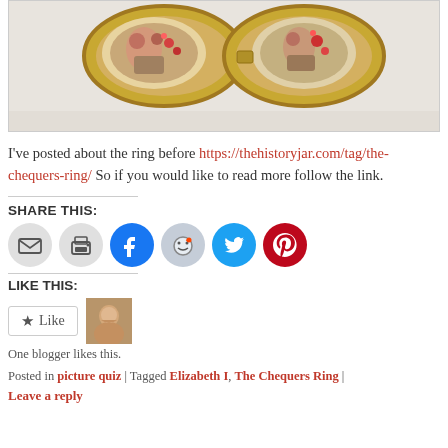[Figure (photo): Close-up photo of two oval gold lockets/rings open, showing painted miniature portraits with floral and figural motifs, on a light background]
I've posted about the ring before https://thehistoryjar.com/tag/the-chequers-ring/ So if you would like to read more follow the link.
SHARE THIS:
[Figure (infographic): Row of social sharing buttons: email (grey), print (grey), Facebook (blue), Reddit (light blue), Twitter (blue), Pinterest (red)]
LIKE THIS:
[Figure (infographic): Like button widget with star icon and Like text, and a small avatar thumbnail. One blogger likes this.]
One blogger likes this.
Posted in picture quiz | Tagged Elizabeth I, The Chequers Ring | Leave a reply